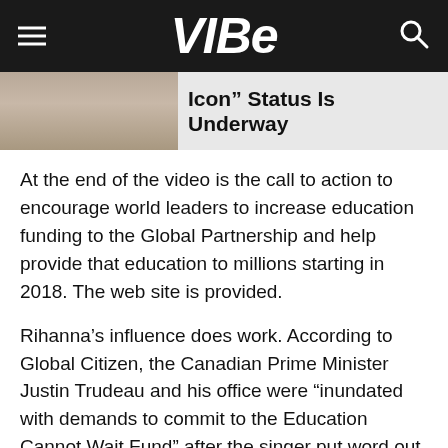VIBE
Icon” Status Is Underway
At the end of the video is the call to action to encourage world leaders to increase education funding to the Global Partnership and help provide that education to millions starting in 2018. The web site is provided.
Rihanna’s influence does work. According to Global Citizen, the Canadian Prime Minister Justin Trudeau and his office were “inundated with demands to commit to the Education Cannot Wait Fund” after the singer put word out on her social media accounts.